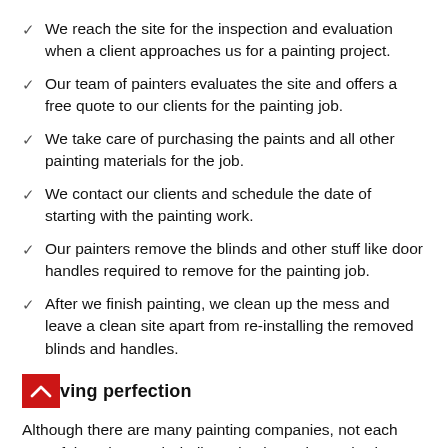We reach the site for the inspection and evaluation when a client approaches us for a painting project.
Our team of painters evaluates the site and offers a free quote to our clients for the painting job.
We take care of purchasing the paints and all other painting materials for the job.
We contact our clients and schedule the date of starting with the painting work.
Our painters remove the blinds and other stuff like door handles required to remove for the painting job.
After we finish painting, we clean up the mess and leave a clean site apart from re-installing the removed blinds and handles.
Achieving perfection
Although there are many painting companies, not each one of them has such dedicated painters in North Shore as that of Warhol House Painting. While the painters of other